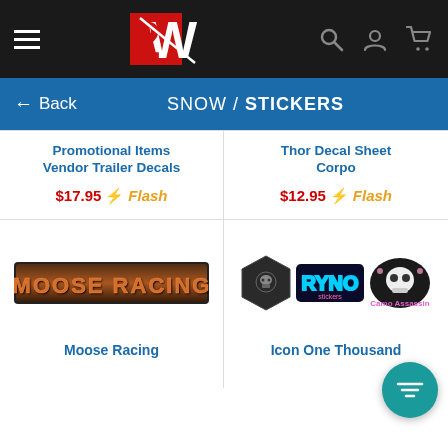[Figure (screenshot): Top navigation header with hamburger menu icon, EW logo (red and white), search icon, user icon, and shopping cart icon on dark background]
← Back   SNOW / STICKERS
Promotional Items Vendor Trailer Decals
$17.95 ⚡Flash
Thor Decal Sheet Corpo
$12.95 ⚡Flash
[Figure (logo): Moose Racing logo sticker - brown/orange metallic text on dark background]
[Figure (photo): Icon One Thousand sticker set showing three stickers: hexagonal badge with skull, colorful RYNO text sticker, and Camo Assassin skull sticker with pink/purple accents. Teal filter FAB button overlaid.]
Moose Racing
Icon One Thousand